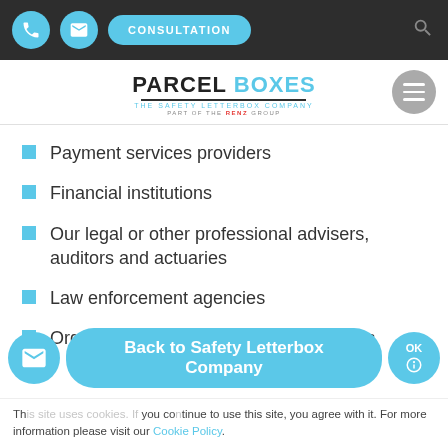Navigation bar with phone icon, email icon, CONSULTATION button, and search icon
[Figure (logo): PARCEL BOXES – THE SAFETY LETTERBOX COMPANY, PART OF THE RENZ GROUP logo with hamburger menu]
Payment services providers
Financial institutions
Our legal or other professional advisers, auditors and actuaries
Law enforcement agencies
Organisations that provide services to us
Back to Safety Letterbox Company
This site uses cookies. If you continue to use this site, you agree with it. For more information please visit our Cookie Policy.